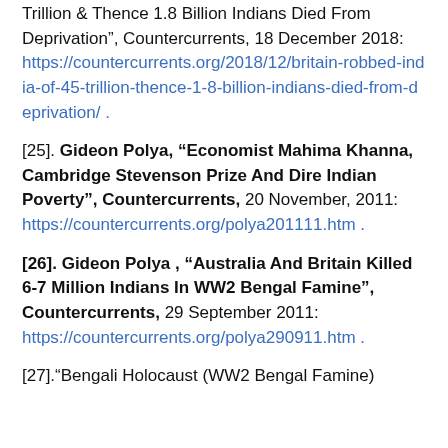Trillion & Thence 1.8 Billion Indians Died From Deprivation", Countercurrents, 18 December 2018: https://countercurrents.org/2018/12/britain-robbed-india-of-45-trillion-thence-1-8-billion-indians-died-from-deprivation/ .
[25]. Gideon Polya, "Economist Mahima Khanna, Cambridge Stevenson Prize And Dire Indian Poverty", Countercurrents, 20 November, 2011: https://countercurrents.org/polya201111.htm .
[26]. Gideon Polya , "Australia And Britain Killed 6-7 Million Indians In WW2 Bengal Famine", Countercurrents, 29 September 2011: https://countercurrents.org/polya290911.htm .
[27]."Bengali Holocaust (WW2 Bengal Famine)